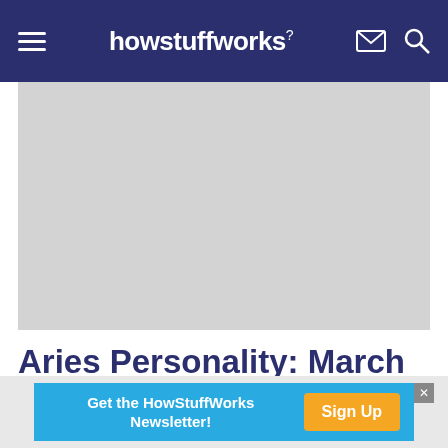howstuffworks
[Figure (photo): Gray placeholder image for article about Aries Personality]
Aries Personality: March 21 - April 20
Get the HowStuffWorks Newsletter! Sign Up